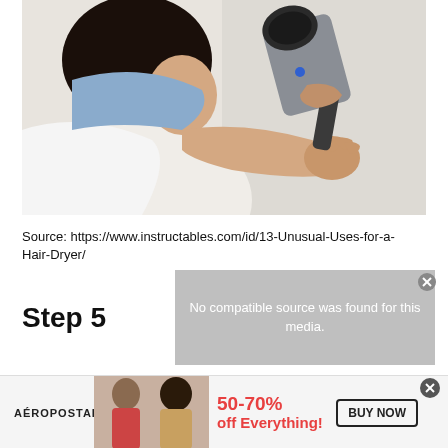[Figure (photo): A woman holding a hair dryer up to a wall, using it for an unusual purpose. She is seen from behind/side, wearing a white top with a blue cloth nearby.]
Source: https://www.instructables.com/id/13-Unusual-Uses-for-a-Hair-Dryer/
[Figure (screenshot): Video player overlay showing 'No compatible source was found for this media.' message on a gray background with a close button.]
Step 5
[Figure (infographic): Aéropostale advertisement banner showing two female models and text '50-70% off Everything!' with a 'BUY NOW' button.]